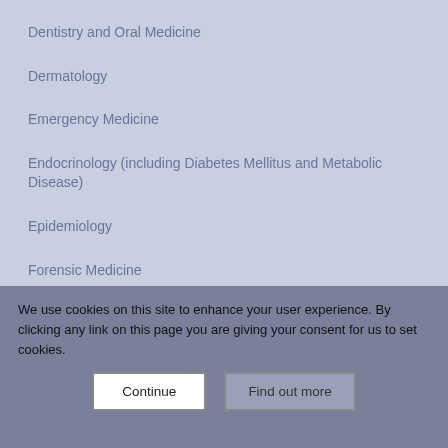Dentistry and Oral Medicine
Dermatology
Emergency Medicine
Endocrinology (including Diabetes Mellitus and Metabolic Disease)
Epidemiology
Forensic Medicine
Gastroenterology
Genetic and Genomic Medicine
Geriatric Medicine
Health Economics
Health Informatics
Health Policy
We use cookies on this site to enhance your user experience. By clicking any link on this page you are giving your consent for us to set cookies.